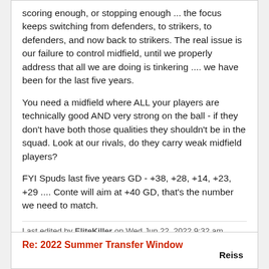scoring enough, or stopping enough ... the focus keeps switching from defenders, to strikers, to defenders, and now back to strikers. The real issue is our failure to control midfield, until we properly address that all we are doing is tinkering .... we have been for the last five years.
You need a midfield where ALL your players are technically good AND very strong on the ball - if they don't have both those qualities they shouldn't be in the squad. Look at our rivals, do they carry weak midfield players?
FYI Spuds last five years GD - +38, +28, +14, +23, +29 .... Conte will aim at +40 GD, that's the number we need to match.
Last edited by EliteKiller on Wed Jun 22, 2022 9:32 am, edited 1 time in total.
Re: 2022 Summer Transfer Window
Reiss